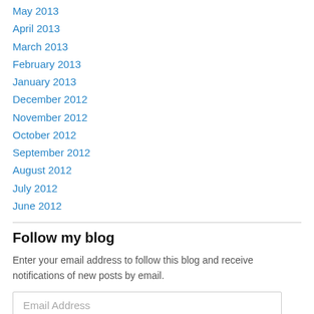May 2013
April 2013
March 2013
February 2013
January 2013
December 2012
November 2012
October 2012
September 2012
August 2012
July 2012
June 2012
Follow my blog
Enter your email address to follow this blog and receive notifications of new posts by email.
Email Address